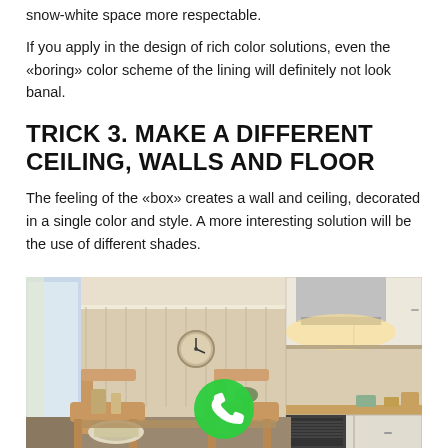snow-white space more respectable.
If you apply in the design of rich color solutions, even the «boring» color scheme of the lining will definitely not look banal.
TRICK 3. MAKE A DIFFERENT CEILING, WALLS AND FLOOR
The feeling of the «box» creates a wall and ceiling, decorated in a single color and style. A more interesting solution will be the use of different shades.
[Figure (photo): Interior photo of a kitchen with white cabinets, wooden dining chairs in the foreground, a wall clock, range hood, and warm under-cabinet lighting. A green phone call button overlay appears in the center.]